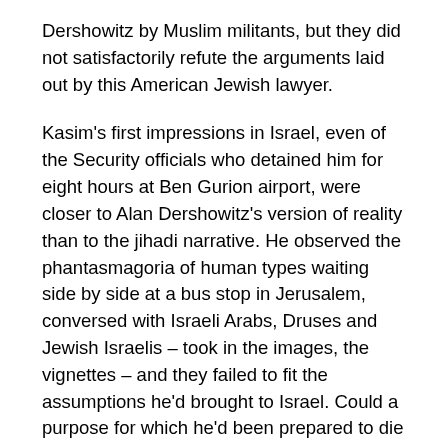Dershowitz by Muslim militants, but they did not satisfactorily refute the arguments laid out by this American Jewish lawyer.
Kasim's first impressions in Israel, even of the Security officials who detained him for eight hours at Ben Gurion airport, were closer to Alan Dershowitz's version of reality than to the jihadi narrative. He observed the phantasmagoria of human types waiting side by side at a bus stop in Jerusalem, conversed with Israeli Arabs, Druses and Jewish Israelis – took in the images, the vignettes – and they failed to fit the assumptions he'd brought to Israel. Could a purpose for which he'd been prepared to die and to kill, be wrong? Misguided? Misinformed? How many of us would even entertain such a question?